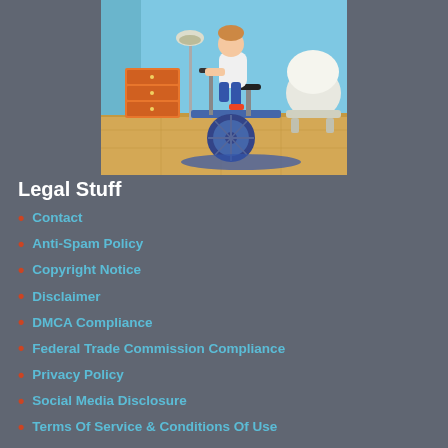[Figure (illustration): Cartoon illustration of a person riding a stationary exercise bike indoors, in a room with blue walls, wooden floor, a chest of drawers, a floor lamp, and a white chair.]
Legal Stuff
Contact
Anti-Spam Policy
Copyright Notice
Disclaimer
DMCA Compliance
Federal Trade Commission Compliance
Privacy Policy
Social Media Disclosure
Terms Of Service & Conditions Of Use
Aspie Woman Aging | Exceptional Aging | Clean Eating Benefits
Copyright © 2022. All Rights Reserved.
Created by Leila Rhoden.